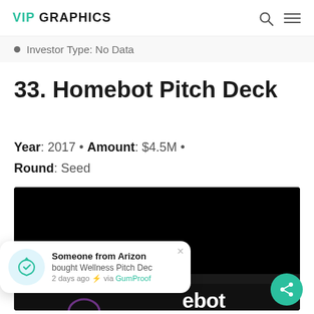VIP GRAPHICS
Investor Type: No Data
33. Homebot Pitch Deck
Year: 2017 • Amount: $4.5M • Round: Seed
[Figure (screenshot): Dark/black background image preview of the Homebot pitch deck, showing partial text 'ebot' and 'build wealth' at the bottom]
Someone from Arizon bought Wellness Pitch Dec 2 days ago ⚡ via GumProof